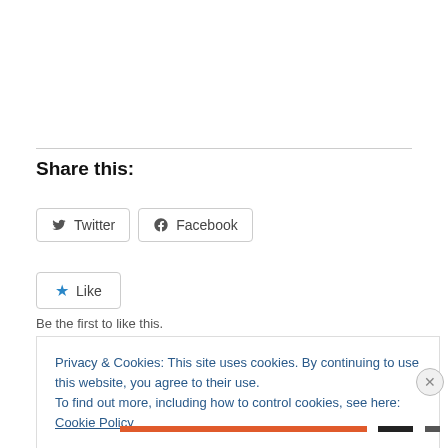Share this:
Twitter  Facebook
Like
Be the first to like this.
Privacy & Cookies: This site uses cookies. By continuing to use this website, you agree to their use.
To find out more, including how to control cookies, see here: Cookie Policy
Close and accept